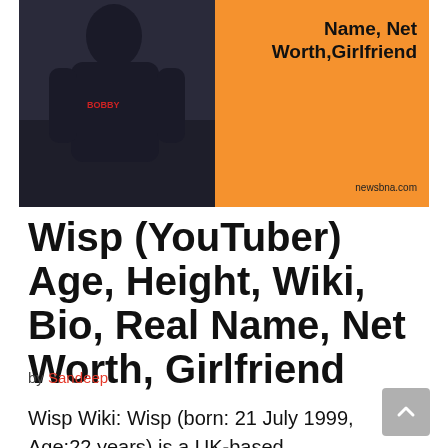[Figure (photo): Banner image showing a person in dark clothing on the left against a dark background, and an orange panel on the right with bold text reading 'Name, Net Worth, Girlfriend' and the website 'newsbna.com']
Wisp (YouTuber) Age, Height, Wiki, Bio, Real Name, Net Worth, Girlfriend
by Sandeep
Wisp Wiki: Wisp (born: 21 July 1999, Age:22 years) is a UK-based